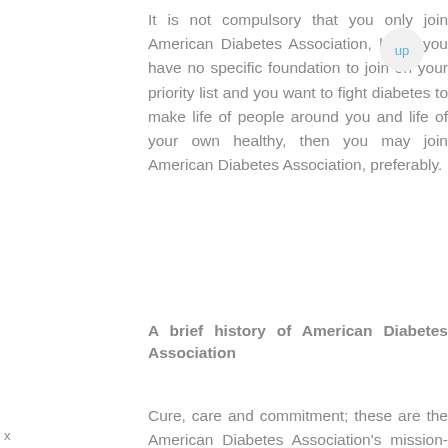It is not compulsory that you only join American Diabetes Association, but if you have no specific foundation to join on your priority list and you want to fight diabetes to make life of people around you and life of your own healthy, then you may join American Diabetes Association, preferably.
A brief history of American Diabetes Association
Cure, care and commitment; these are the American Diabetes Association's mission-vision. ADA is committed to
x